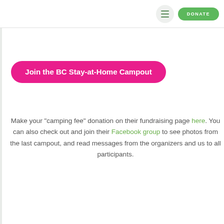DONATE
Join the BC Stay-at-Home Campout
Make your “camping fee” donation on their fundraising page here. You can also check out and join their Facebook group to see photos from the last campout, and read messages from the organizers and us to all participants.